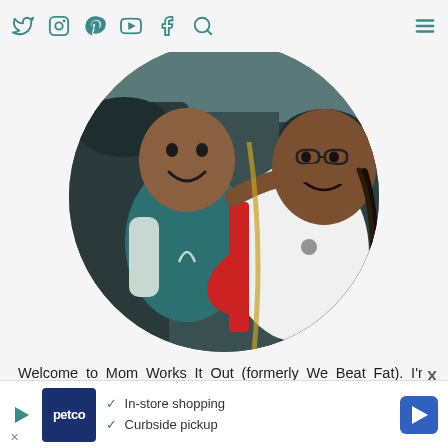Social media navigation icons: Twitter, Instagram, Pinterest, YouTube, Facebook, Search, and hamburger menu
[Figure (photo): Circular cropped photo of a woman wearing a white and red baseball shirt with braided hair, smiling, with a young child wearing a teal shirt sitting beside her in the back seat of a car.]
Welcome to Mom Works It Out (formerly We Beat Fat). I'm Angela. I lost 200 pounds and fell in love with running and then I had a baby. Now I'm juggling mom life, healthy living and running. I'm trying to handle it all with grace and still enjoy traveling, writing, reading, and everyth
[Figure (other): Petco advertisement banner showing Petco logo, checkmarks for In-store shopping and Curbside pickup, and a navigation arrow icon.]